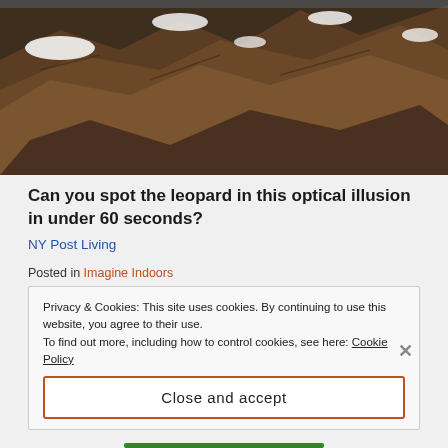[Figure (photo): Rocky mountain/cliff face with snow patches, photographed in bright daylight.]
Can you spot the leopard in this optical illusion in under 60 seconds?
NY Post Living
Posted in Imagine Indoors
Tagged baking soda, balloon, blow up a balloon, chemical, chemical reactions, children, experiment, homeschool, homeschool resources, indoor adventure, life, reaction, science, science experiment, simple, simple experiment, teach your children
Privacy & Cookies: This site uses cookies. By continuing to use this website, you agree to their use.
To find out more, including how to control cookies, see here: Cookie Policy
Close and accept